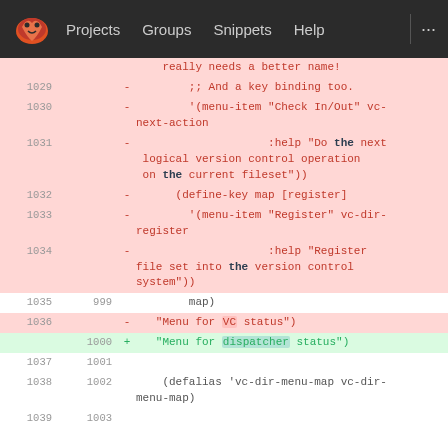GNU Projects Groups Snippets Help ...
[Figure (screenshot): GitLab code diff view showing lines 1029-1039 of an Emacs Lisp file with removed (red) and added (green) lines. Changes replace VC menu items with dispatcher equivalents.]